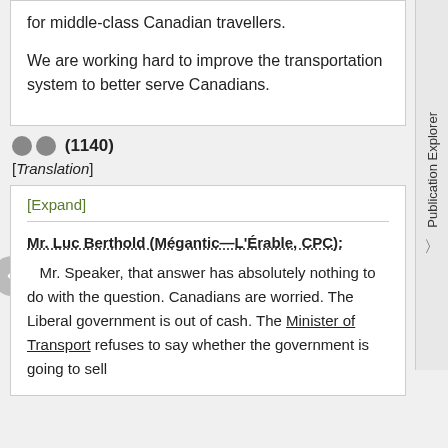for middle-class Canadian travellers.

We are working hard to improve the transportation system to better serve Canadians.
(1140)
[Translation]
[Expand]
Mr. Luc Berthold (Mégantic—L'Érable, CPC):
Mr. Speaker, that answer has absolutely nothing to do with the question. Canadians are worried. The Liberal government is out of cash. The Minister of Transport refuses to say whether the government is going to sell